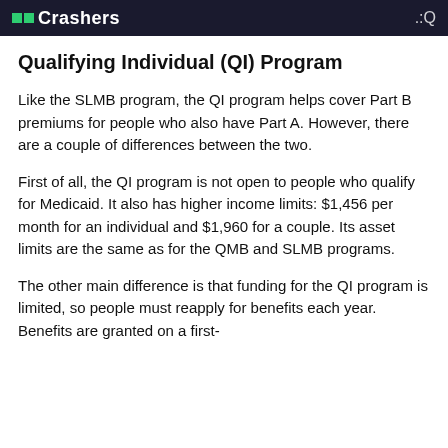Crashers
Qualifying Individual (QI) Program
Like the SLMB program, the QI program helps cover Part B premiums for people who also have Part A. However, there are a couple of differences between the two.
First of all, the QI program is not open to people who qualify for Medicaid. It also has higher income limits: $1,456 per month for an individual and $1,960 for a couple. Its asset limits are the same as for the QMB and SLMB programs.
The other main difference is that funding for the QI program is limited, so people must reapply for benefits each year. Benefits are granted on a first-